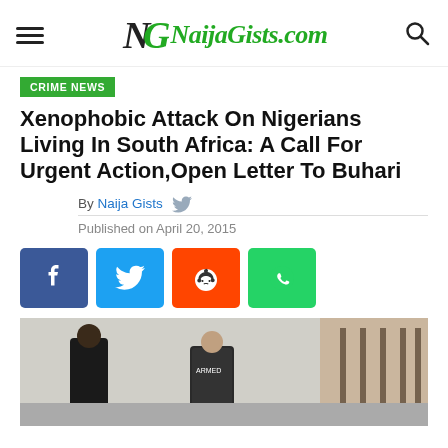NaijaGists.com
CRIME NEWS
Xenophobic Attack On Nigerians Living In South Africa: A Call For Urgent Action,Open Letter To Buhari
By Naija Gists
Published on April 20, 2015
[Figure (infographic): Social share buttons: Facebook, Twitter, Reddit, WhatsApp]
[Figure (photo): Two people in a confrontation outdoors near a gate and brick wall]